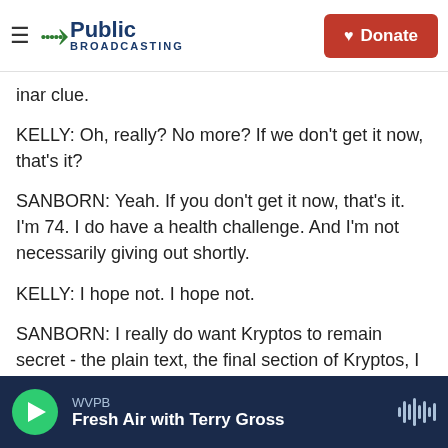WV Public Broadcasting — Donate
inar clue.
KELLY: Oh, really? No more? If we don't get it now, that's it?
SANBORN: Yeah. If you don't get it now, that's it. I'm 74. I do have a health challenge. And I'm not necessarily giving out shortly.
KELLY: I hope not. I hope not.
SANBORN: I really do want Kryptos to remain secret - the plain text, the final section of Kryptos, I would prefer for it to remain secret indefinitely.
WVPB — Fresh Air with Terry Gross